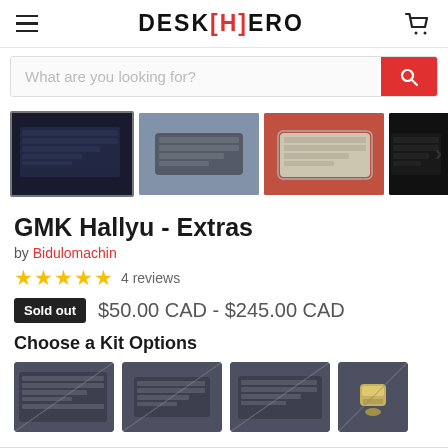DESK[H]ERO — navigation header with hamburger menu and cart icon
What are you looking for?
[Figure (screenshot): Product image thumbnail strip showing 4 keyboard images: dark keyboard, blue-background keyboard, red-background keyboard, dark partial view, with next arrow]
GMK Hallyu - Extras
by Bidulomachin
★★★★★ 4 reviews
Sold out  $50.00 CAD - $245.00 CAD
Choose a Kit Options
[Figure (screenshot): 4 kit option thumbnails showing keycap set options — three keyboard-style grey thumbnails with diagonal slash overlays and one gold/metal keycap thumbnail]